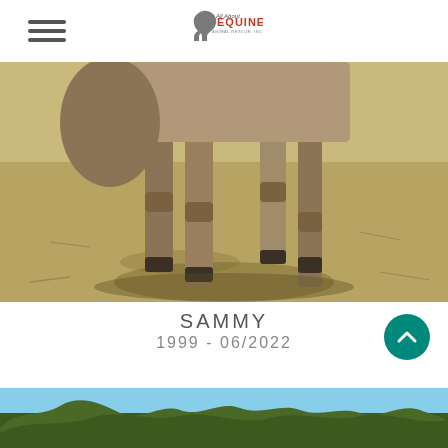All About Equine Animal Rescue, Inc.
[Figure (photo): Close-up photo of a horse's legs and lower body standing on dry dirt ground, taken from a low angle. The horse appears to be a tan/dun color.]
SAMMY
1999 - 06/2022
DONATE IN MEMORY OF SAMMY
[Figure (other): Teal circular scroll-to-top button with an upward chevron arrow icon]
[Figure (photo): Partial view of a landscape with trees and blue sky, partially cut off at bottom of page]